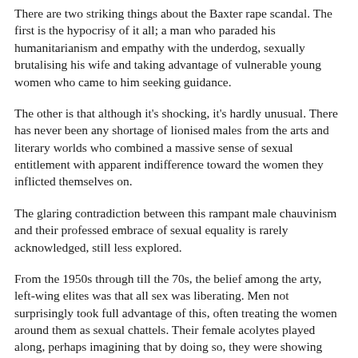There are two striking things about the Baxter rape scandal. The first is the hypocrisy of it all; a man who paraded his humanitarianism and empathy with the underdog, sexually brutalising his wife and taking advantage of vulnerable young women who came to him seeking guidance.
The other is that although it's shocking, it's hardly unusual. There has never been any shortage of lionised males from the arts and literary worlds who combined a massive sense of sexual entitlement with apparent indifference toward the women they inflicted themselves on.
The glaring contradiction between this rampant male chauvinism and their professed embrace of sexual equality is rarely acknowledged, still less explored.
From the 1950s through till the 70s, the belief among the arty, left-wing elites was that all sex was liberating. Men not surprisingly took full advantage of this, often treating the women around them as sexual chattels. Their female acolytes played along, perhaps imagining that by doing so, they were showing their contempt for conventional bourgeois morality...